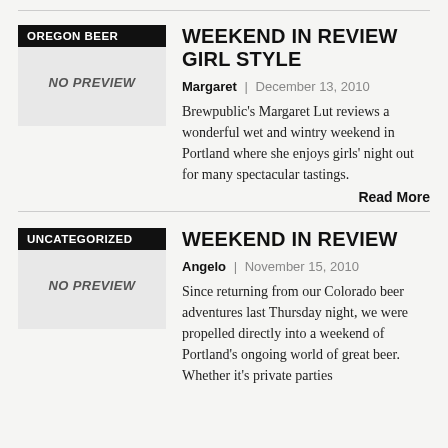WEEKEND IN REVIEW GIRL STYLE
Margaret | December 13, 2010
Brewpublic's Margaret Lut reviews a wonderful wet and wintry weekend in Portland where she enjoys girls' night out for many spectacular tastings.
Read More
WEEKEND IN REVIEW
Angelo | November 15, 2010
Since returning from our Colorado beer adventures last Thursday night, we were propelled directly into a weekend of Portland's ongoing world of great beer. Whether it's private parties